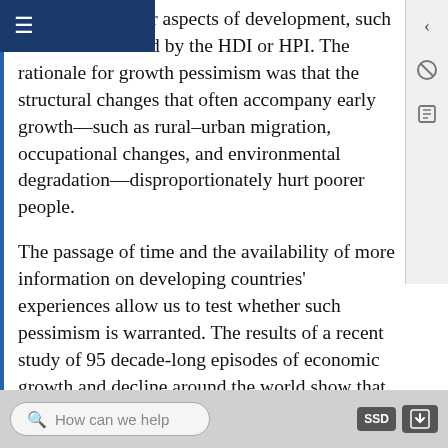ovements in other aspects of development, such as those measured by the HDI or HPI. The rationale for growth pessimism was that the structural changes that often accompany early growth—such as rural–urban migration, occupational changes, and environmental degradation—disproportionately hurt poorer people.
The passage of time and the availability of more information on developing countries' experiences allow us to test whether such pessimism is warranted. The results of a recent study of 95 decade-long episodes of economic growth and decline around the world show that the distribution of income can go either way. Clearly, as the table
How can we help